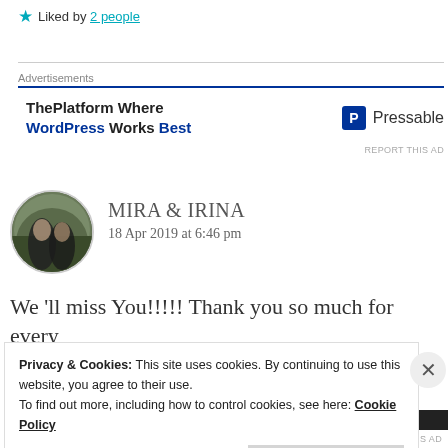★ Liked by 2 people
[Figure (screenshot): Advertisement banner: ThePlatform Where WordPress Works Best — Pressable logo]
MIRA & IRINA
18 Apr 2019 at 6:46 pm
We 'll miss You!!!!! Thank you so much for every
Privacy & Cookies: This site uses cookies. By continuing to use this website, you agree to their use.
To find out more, including how to control cookies, see here: Cookie Policy
Close and accept